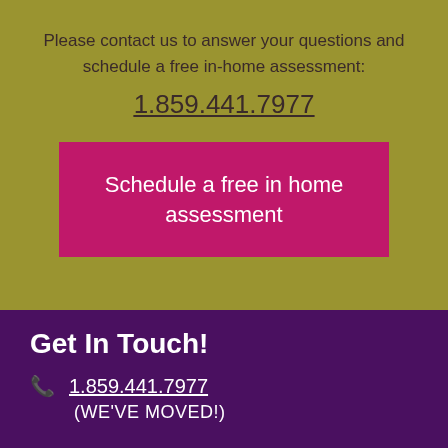Please contact us to answer your questions and schedule a free in-home assessment:
1.859.441.7977
Schedule a free in home assessment
Get In Touch!
1.859.441.7977
(WE'VE MOVED!)